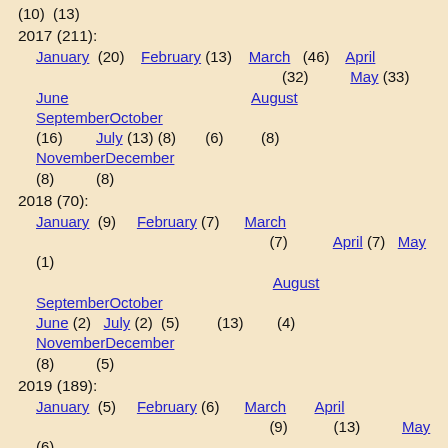(10) (13)
2017 (211):
January (20) February (13) March (46) April (32) May (33) June (16) July (13) August (8) September (6) October (8) November (8) December (8)
2018 (70):
January (9) February (7) March (7) April (7) May (1) June (2) July (2) August (5) September (13) October (4) November (8) December (5)
2019 (189):
January (5) February (6) March (9) April (13) May (6) June (14) July (15) August (11) September (22) October (10) November (43) December (35)
2020 (124):
January (14) February (3) March (15) April (5) May (5) August September October